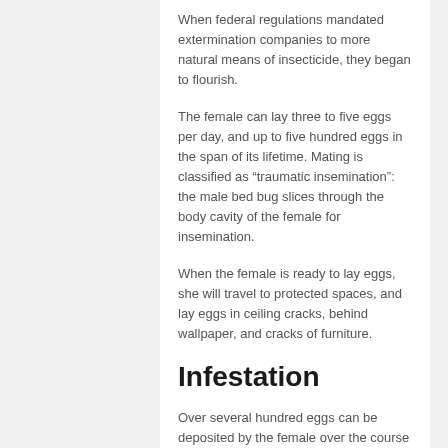When federal regulations mandated extermination companies to more natural means of insecticide, they began to flourish.
The female can lay three to five eggs per day, and up to five hundred eggs in the span of its lifetime. Mating is classified as “traumatic insemination”: the male bed bug slices through the body cavity of the female for insemination.
When the female is ready to lay eggs, she will travel to protected spaces, and lay eggs in ceiling cracks, behind wallpaper, and cracks of furniture.
Infestation
Over several hundred eggs can be deposited by the female over the course of several months. The eggs will hatch into nymphs. They must go through five molts to reach the size of an adult, and each molt requires a blood feeding. Once you have a true